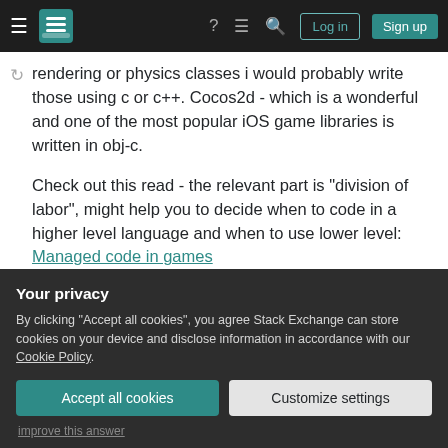Stack Exchange navigation bar with hamburger menu, logo, help, chat, search icons, Log in and Sign up buttons
rendering or physics classes i would probably write those using c or c++. Cocos2d - which is a wonderful and one of the most popular iOS game libraries is written in obj-c.

Check out this read - the relevant part is "division of labor", might help you to decide when to code in a higher level language and when to use lower level: Managed code in games

While objective-c overhead should be no where
Your privacy

By clicking "Accept all cookies", you agree Stack Exchange can store cookies on your device and disclose information in accordance with our Cookie Policy.

Accept all cookies   Customize settings
improve this answer